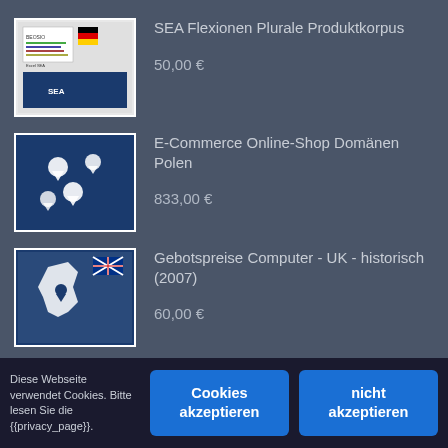[Figure (screenshot): Product thumbnail: SEA Flexionen Plurale Produktkorpus - white background with SEO/keyword data grid and German flag]
SEA Flexionen Plurale Produktkorpus
50,00 €
[Figure (illustration): Product thumbnail: E-Commerce Online-Shop Domänen Polen - dark blue background with map pin icons]
E-Commerce Online-Shop Domänen Polen
833,00 €
[Figure (illustration): Product thumbnail: Gebotspreise Computer UK historisch 2007 - dark blue silhouette of UK map with UK flag]
Gebotspreise Computer - UK - historisch (2007)
60,00 €
[Figure (illustration): Product thumbnail: Abonnement E-Commerce Shops AT - Austria map outline with Austrian flag]
Abonnement E-Commerce Shops AT
150,00 €
[Figure (screenshot): Partial product thumbnail - partially visible]
E-Commerce Shop Adressen TV Hifi Video Elektro
Diese Webseite verwendet Cookies. Bitte lesen Sie die {{privacy_page}}.
Cookies akzeptieren
nicht akzeptieren